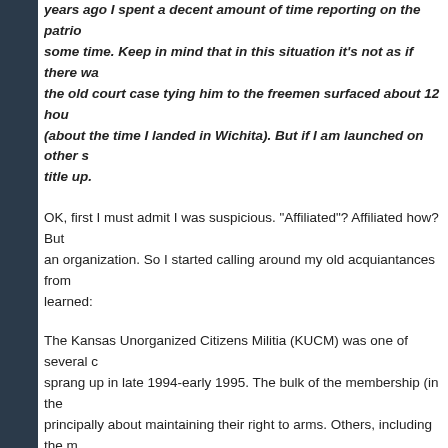years ago I spent a decent amount of time reporting on the patrio... some time. Keep in mind that in this situation it's not as if there wa... the old court case tying him to the freemen surfaced about 12 hou... (about the time I landed in Wichita). But if I am launched on other s... title up.
OK, first I must admit I was suspicious. "Affiliated"? Affiliated how? But ... an organization. So I started calling around my old acquiantances from... learned:
The Kansas Unorganized Citizens Militia (KUCM) was one of several c... sprang up in late 1994-early 1995. The bulk of the membership (in the ... principally about maintaining their right to arms. Others, including the m... become one of their leaders, had a more expansive agenda and a stra...
Morris Wilson, an early leader of the KUCM, was personable but lacked... according to former members. some found he also had a problem with... as much interested in the Second Amendment as he was blasting the J... conspiracies.
You see, Morris was "Christian Identity." (I call them "Mistaken Indentitie... Christian about them.)
Wilson, who now lives in western Nebraska, admitted as much to me w... phone a few days ago. He remains a member of the Identity church...